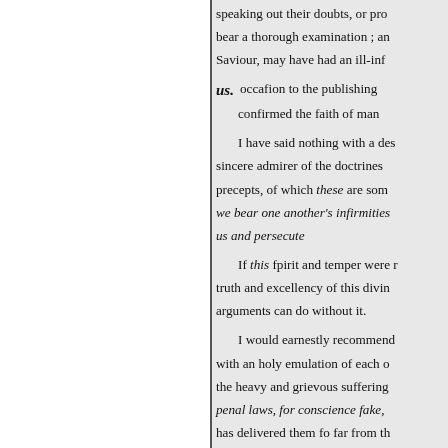speaking out their doubts, or pro bear a thorough examination ; an Saviour, may have had an ill-inf
us. occafion to the publishing confirmed the faith of man
I have said nothing with a des sincere admirer of the doctrines precepts, of which these are som we bear one another's infirmities us and persecute
If this fpirit and temper were r truth and excellency of this divin arguments can do without it.
I would earnestly recommend with an holy emulation of each o the heavy and grievous suffering penal laws, for conscience fake, has delivered them fo far from th
may Protestants of all persuasion Christian charity and forbearanc with greater success, bend their